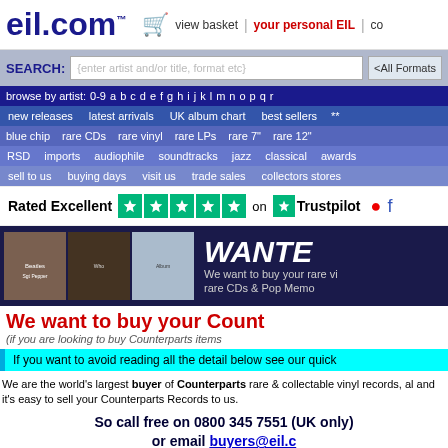eil.com™  view basket | your personal EIL | co
SEARCH: {enter artist and/or title, format etc} <All Formats>
browse by artist: 0-9 a b c d e f g h i j k l m n o p q r
new releases | latest arrivals | UK album chart | best sellers | **
blue chip | rare CDs | rare vinyl | rare LPs | rare 7" | rare 12"
RSD | imports | audiophile | soundtracks | jazz | classical | awards
sell to us | buying days | visit us | trade sales | collectors stores
Rated Excellent on Trustpilot
[Figure (other): WANTED banner with album covers - We want to buy your rare vinyl, rare CDs & Pop Memo]
We want to buy your Count
(if you are looking to buy Counterparts items
If you want to avoid reading all the detail below see our quick
We are the world's largest buyer of Counterparts rare & collectable vinyl records, al and it's easy to sell your Counterparts Records to us.
So call free on 0800 345 7551 (UK only) or email buyers@eil.c